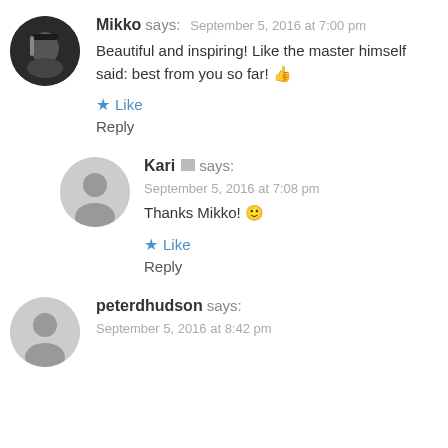Mikko says: September 5, 2016 at 7:00 pm
Beautiful and inspiring! Like the master himself said: best from you so far! 👍
★ Like
Reply
Kari says: September 5, 2016 at 7:08 pm
Thanks Mikko! 🙂
★ Like
Reply
peterdhudson says: September 5, 2016 at 8:42 pm